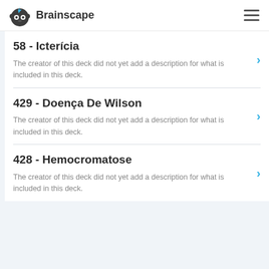Brainscape
58 - Icterícia
The creator of this deck did not yet add a description for what is included in this deck.
429 - Doença De Wilson
The creator of this deck did not yet add a description for what is included in this deck.
428 - Hemocromatose
The creator of this deck did not yet add a description for what is included in this deck.